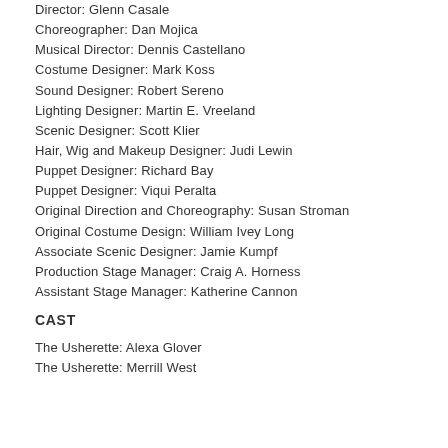Director: Glenn Casale
Choreographer: Dan Mojica
Musical Director: Dennis Castellano
Costume Designer: Mark Koss
Sound Designer: Robert Sereno
Lighting Designer: Martin E. Vreeland
Scenic Designer: Scott Klier
Hair, Wig and Makeup Designer: Judi Lewin
Puppet Designer: Richard Bay
Puppet Designer: Viqui Peralta
Original Direction and Choreography: Susan Stroman
Original Costume Design: William Ivey Long
Associate Scenic Designer: Jamie Kumpf
Production Stage Manager: Craig A. Horness
Assistant Stage Manager: Katherine Cannon
CAST
The Usherette: Alexa Glover
The Usherette: Merrill West